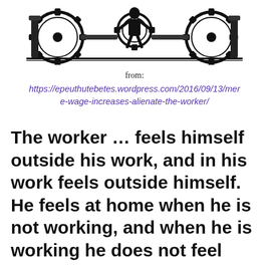[Figure (illustration): Black and white vintage woodcut-style illustration showing a worker figure among large mechanical gears and industrial machinery]
from:
https://epeuthutebetes.wordpress.com/2016/09/13/mere-wage-increases-alienate-the-worker/
The worker … feels himself outside his work, and in his work feels outside himself. He feels at home when he is not working, and when he is working he does not feel